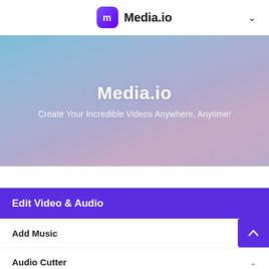Media.io
[Figure (screenshot): Hero banner with gradient background (blue-purple) showing Media.io title and tagline 'Create Your Incredible Videos Anywhere, Anytime!']
Edit Video & Audio
Add Music
Audio Cutter